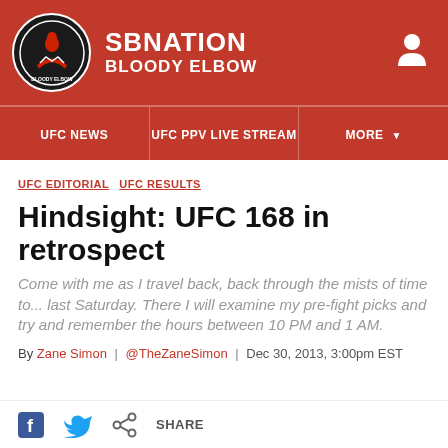SBNATION BLOODY ELBOW
UFC NEWS | UFC PPV LIVE STREAM | MORE
UFC EDITORIAL  UFC RESULTS
Hindsight: UFC 168 in retrospect
Come with me as I travel back, back through the mists of time to... last Saturday. There I will examine my pre-fight picks and try and remember the hours between 10 PM and 1 AM.
By Zane Simon | @TheZaneSimon | Dec 30, 2013, 3:00pm EST
SHARE